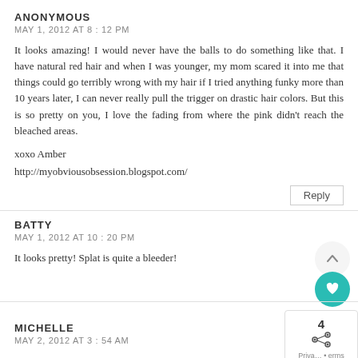ANONYMOUS
MAY 1, 2012 AT 8:12 PM
It looks amazing! I would never have the balls to do something like that. I have natural red hair and when I was younger, my mom scared it into me that things could go terribly wrong with my hair if I tried anything funky more than 10 years later, I can never really pull the trigger on drastic hair colors. But this is so pretty on you, I love the fading from where the pink didn't reach the bleached areas.
xoxo Amber
http://myobviousobsession.blogspot.com/
Reply
BATTY
MAY 1, 2012 AT 10:20 PM
It looks pretty! Splat is quite a bleeder!
MICHELLE
MAY 2, 2012 AT 3:54 AM